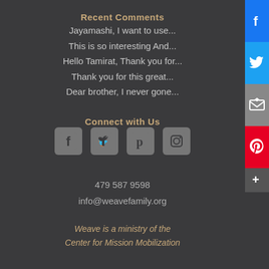Recent Comments
Jayamashi, I want to use...
This is so interesting And...
Hello Tamirat, Thank you for...
Thank you for this great...
Dear brother, I never gone...
Connect with Us
[Figure (illustration): Social media icons: Facebook, Twitter, Pinterest, Instagram]
479 587 9598
info@weavefamily.org
Weave is a ministry of the Center for Mission Mobilization